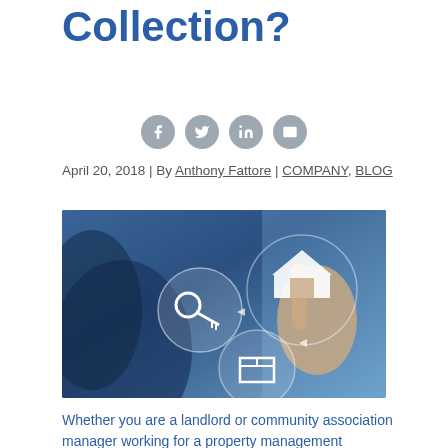Collection?
[Figure (illustration): Property management concept image: a hand pointing at a glowing house icon surrounded by circular icons including a key and a box, on a blue blurred background]
April 20, 2018 | By Anthony Fattore | COMPANY, BLOG
Whether you are a landlord or community association manager working for a property management company, the foundation of your revenue comes from rental income. However,